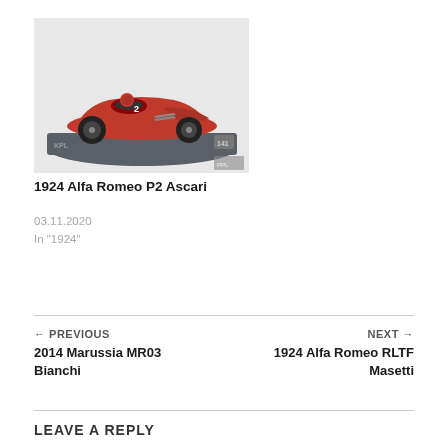[Figure (photo): Scale model of a red 1924 Alfa Romeo P2 racing car on a dark display base, viewed from a three-quarter front angle.]
1924 Alfa Romeo P2 Ascari
03.11.2020
In "1924"
← PREVIOUS
2014 Marussia MR03 Bianchi
NEXT →
1924 Alfa Romeo RLTF Masetti
LEAVE A REPLY